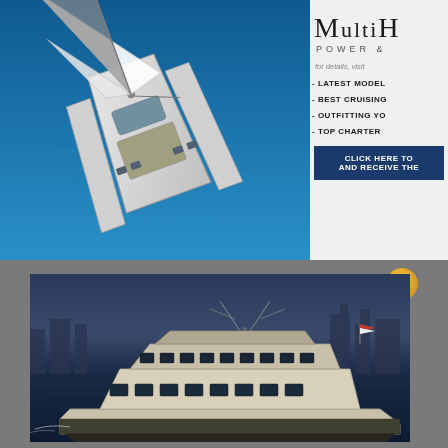[Figure (photo): Aerial view of a white sailing catamaran on vivid blue water, sails deployed, viewed from above]
MULTIH
POWER &
for details, visit
- LATEST MODEL
- BEST CRUISING
- OUTFITTING YO
- TOP CHARTER
CLICK HERE TO
AND RECEIVE THE
[Figure (photo): Large white motor yacht cruising on dark water near a city waterfront at dusk]